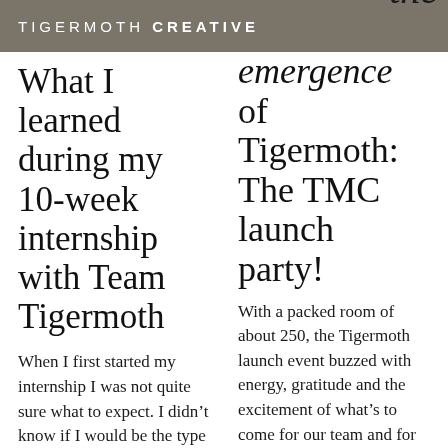TIGERMOTH CREATIVE
What I learned during my 10-week internship with Team Tigermoth
When I first started my internship I was not quite sure what to expect. I didn't know if I would be the type of intern who
the emergence of Tigermoth: The TMC launch party!
With a packed room of about 250, the Tigermoth launch event buzzed with energy, gratitude and the excitement of what's to come for our team and for our future clients. From